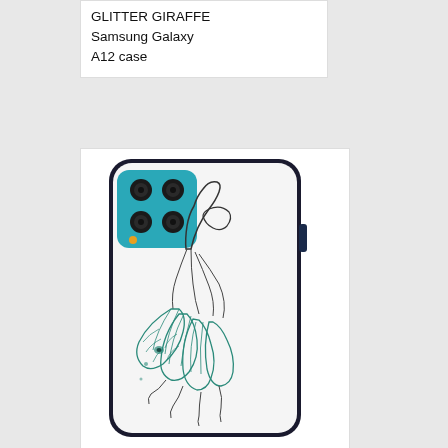GLITTER GIRAFFE Samsung Galaxy A12 case
[Figure (photo): Samsung Galaxy A12 phone case with a white wolf howling design and teal/green feather decorations, shown on the back of the phone. The phone has a teal camera module with four lenses in the upper left corner.]